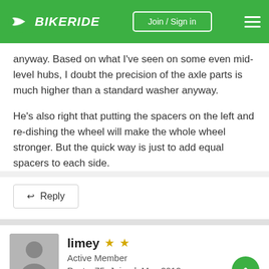BIKERIDE — Join / Sign in
anyway. Based on what I've seen on some even mid-level hubs, I doubt the precision of the axle parts is much higher than a standard washer anyway.

He's also right that putting the spacers on the left and re-dishing the wheel will make the whole wheel stronger. But the quick way is just to add equal spacers to each side.
Reply
limey ★★
Active Member
Posts: 75  Joined: May 2012